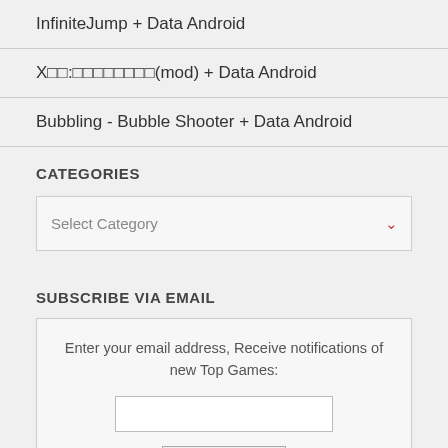InfiniteJump + Data Android
X□□:□□□□□□□□(mod) + Data Android
Bubbling - Bubble Shooter + Data Android
CATEGORIES
Select Category
SUBSCRIBE VIA EMAIL
Enter your email address, Receive notifications of new Top Games: